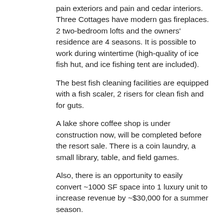pain exteriors and pain and cedar interiors. Three Cottages have modern gas fireplaces. 2 two-bedroom lofts and the owners' residence are 4 seasons. It is possible to work during wintertime (high-quality of ice fish hut, and ice fishing tent are included).
The best fish cleaning facilities are equipped with a fish scaler, 2 risers for clean fish and for guts.
A lake shore coffee shop is under construction now, will be completed before the resort sale. There is a coin laundry, a small library, table, and field games.
Also, there is an opportunity to easily convert ~1000 SF space into 1 luxury unit to increase revenue by ~$30,000 for a summer season.
The owners' luxury residence ~ over 2000 SF is wonderful, with an office and a small shop. Commercial grade Ice – machine, and commercial grade coffee machine.